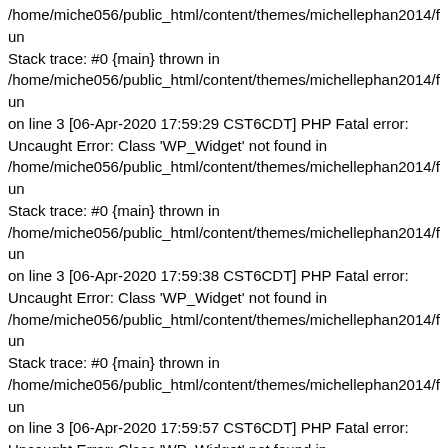/home/miche056/public_html/content/themes/michellephan2014/fun Stack trace: #0 {main} thrown in /home/miche056/public_html/content/themes/michellephan2014/fun on line 3 [06-Apr-2020 17:59:29 CST6CDT] PHP Fatal error: Uncaught Error: Class 'WP_Widget' not found in /home/miche056/public_html/content/themes/michellephan2014/fun Stack trace: #0 {main} thrown in /home/miche056/public_html/content/themes/michellephan2014/fun on line 3 [06-Apr-2020 17:59:38 CST6CDT] PHP Fatal error: Uncaught Error: Class 'WP_Widget' not found in /home/miche056/public_html/content/themes/michellephan2014/fun Stack trace: #0 {main} thrown in /home/miche056/public_html/content/themes/michellephan2014/fun on line 3 [06-Apr-2020 17:59:57 CST6CDT] PHP Fatal error: Uncaught Error: Class 'WP_Widget' not found in /home/miche056/public_html/content/themes/michellephan2014/fun Stack trace: #0 {main} thrown in /home/miche056/public_html/content/themes/michellephan2014/fun on line 3 [06-Apr-2020 18:01:23 CST6CDT] PHP Fatal error: Uncaught Error: Class 'WP_Widget' not found in /home/miche056/public_html/content/themes/michellephan2014/fun Stack trace: #0 {main} thrown in /home/miche056/public_html/content/themes/michellephan2014/fun on line 3 [06-Apr-2020 18:01:30 CST6CDT] PHP Fatal error: Uncaught Error: Class 'WP_Widget' not found in /home/miche056/public_html/content/themes/michellephan2014/fun